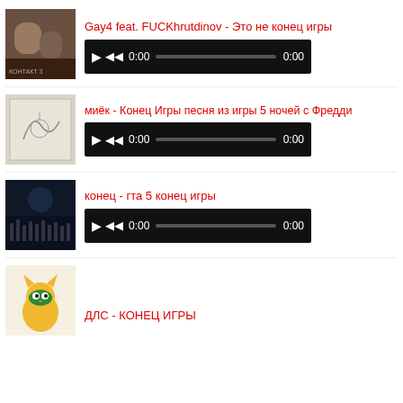[Figure (screenshot): Music track thumbnail 1 - couple photo]
Gay4 feat. FUCKhrutdinov - Это не конец игры
[Figure (screenshot): Audio player bar 1 with play/rewind buttons and progress track showing 0:00 / 0:00]
[Figure (screenshot): Music track thumbnail 2 - sketch/drawing]
миёк - Конец Игры песня из игры 5 ночей с Фредди
[Figure (screenshot): Audio player bar 2 with play/rewind buttons and progress track showing 0:00 / 0:00]
[Figure (screenshot): Music track thumbnail 3 - night crowd scene]
конец - гта 5 конец игры
[Figure (screenshot): Audio player bar 3 with play/rewind buttons and progress track showing 0:00 / 0:00]
[Figure (screenshot): Music track thumbnail 4 - cartoon cat character]
ДЛС - КОНЕЦ ИГРЫ